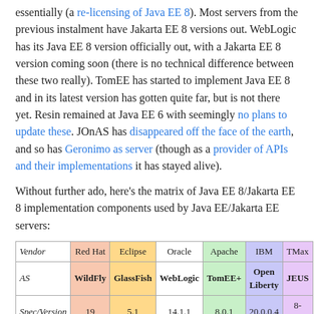essentially (a re-licensing of Java EE 8). Most servers from the previous instalment have Jakarta EE 8 versions out. WebLogic has its Java EE 8 version officially out, with a Jakarta EE 8 version coming soon (there is no technical difference between these two really). TomEE has started to implement Java EE 8 and in its latest version has gotten quite far, but is not there yet. Resin remained at Java EE 6 with seemingly no plans to update these. JOnAS has disappeared off the face of the earth, and so has Geronimo as server (though as a provider of APIs and their implementations it has stayed alive).
Without further ado, here's the matrix of Java EE 8/Jakarta EE 8 implementation components used by Java EE/Jakarta EE servers:
| Vendor | Red Hat | Eclipse | Oracle | Apache | IBM | TMax |
| --- | --- | --- | --- | --- | --- | --- |
| AS | WildFly | GlassFish | WebLogic | TomEE+ | Open Liberty | JEUS |
| Spec/Version | 19 | 5.1 | 14.1.1 | 8.0.1 | 20.0.0.4 | 8-b266 |